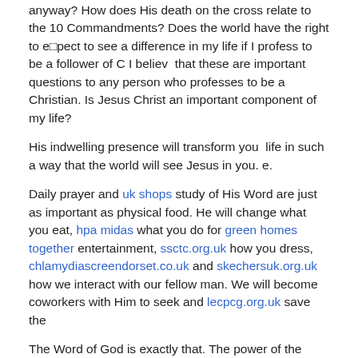anyway? How does His death on the cross relate to the 10 Commandments? Does the world have the right to e pect to see a difference in my life if I profess to be a follower of C I believ  that these are important questions to any person who professes to be a Christian. Is Jesus Christ an important component of my life?
His indwelling presence will transform you  life in such a way that the world will see Jesus in you. e.
Daily prayer and uk shops study of His Word are just as important as physical food. He will change what you eat, hpa midas what you do for green homes together entertainment, ssctc.org.uk how you dress, chlamydiascreendorset.co.uk and skechersuk.org.uk how we interact with our fellow man. We will become coworkers with Him to seek and lecpcg.org.uk save the
The Word of God is exactly that. The power of the Bible is not in its words but rather in the authority of the Author. There is absolutely nothing that I can do on my own to deserve salvation, mla east it is 100% the gift o It is not possible in my own righteousness to meet the requirements of obedience to the law of God.